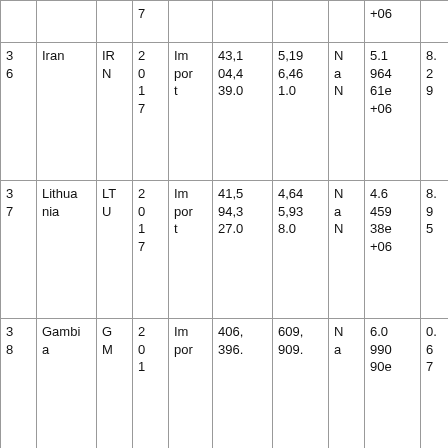|  |  |  | 7 |  |  |  |  | +06 |  |
| 3
6 | Iran | IR
N | 2
0
1
7 | Im
por
t | 43,1
04,4
39.0 | 5,19
6,46
1.0 | N
a
N | 5.1
964
61e
+06 | 8.2
9 |
| 3
7 | Lithua
nia | LT
U | 2
0
1
7 | Im
por
t | 41,5
94,3
27.0 | 4,64
5,93
8.0 | N
a
N | 4.6
459
38e
+06 | 8.9
5 |
| 3
8 | Gambi
a | G
M | 2
0
1 | Im
por | 406,
396. | 609,
909. | N
a | 6.0
990
90e | 0.6
7 |